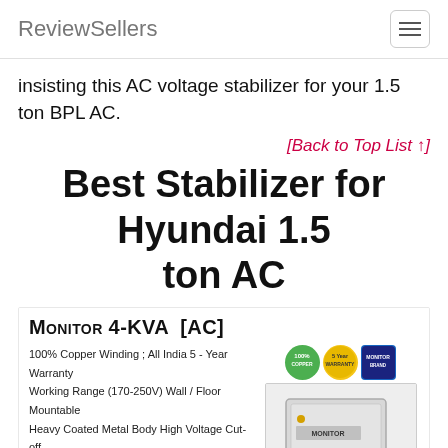ReviewSellers
insisting this AC voltage stabilizer for your 1.5 ton BPL AC.
[Back to Top List ↑]
Best Stabilizer for Hyundai 1.5 ton AC
[Figure (photo): Monitor 4-KVA [AC] product listing showing features: 100% Copper Winding; All India 5-Year Warranty, Working Range (170-250V) Wall / Floor Mountable, Heavy Coated Metal Body High Voltage Cut-off, Protects Connected Equipment From Voltage Fluctuations, High Voltage Cut-Off Protection, Durable, Monitor 4-Kva VS Provides Complete Power Protection. Also shows product image of white metal stabilizer box and three certification badges.]
Monitor 4-KVA Wall Mountable Voltage Stabilizer For 1.5